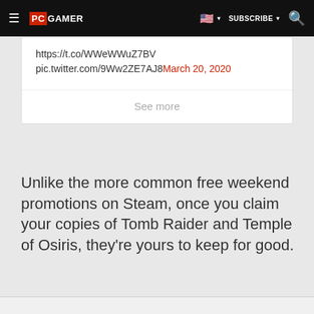PC GAMER | SUBSCRIBE
https://t.co/WWeWWuZ7BV
pic.twitter.com/9Ww2ZE7AJ8 March 20, 2020

See more
Unlike the more common free weekend promotions on Steam, once you claim your copies of Tomb Raider and Temple of Osiris, they're yours to keep for good.